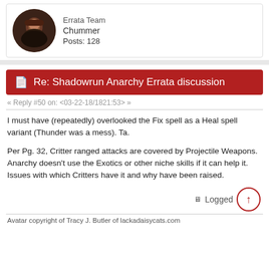Errata Team
Chummer
Posts: 128
Re: Shadowrun Anarchy Errata discussion
« Reply #50 on: <03-22-18/1821:53> »
I must have (repeatedly) overlooked the Fix spell as a Heal spell variant (Thunder was a mess). Ta.

Per Pg. 32, Critter ranged attacks are covered by Projectile Weapons. Anarchy doesn't use the Exotics or other niche skills if it can help it. Issues with which Critters have it and why have been raised.
Logged
Avatar copyright of Tracy J. Butler of lackadaisycats.com